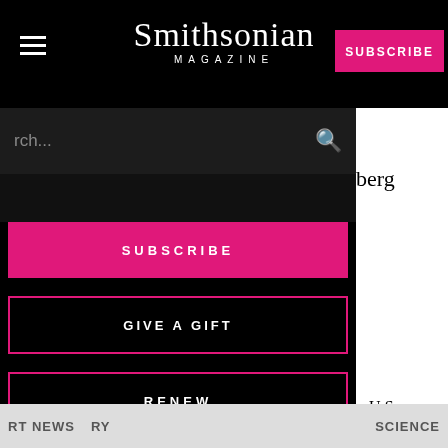Smithsonian MAGAZINE
rch...
berg
SUBSCRIBE
GIVE A GIFT
RENEW
e U.S.
Report an ad
[Figure (screenshot): Quaker Museum Day advertisement: YOU COULD WIN A MUSEUM FIELD TRIP TO D.C. NO PURCHASE NECESSARY. ENDS 8/14/22. SEE WEBSITE FOR DETAILS AND OFFICIAL RULES. LEARN MORE]
RT NEWS
ry
Science